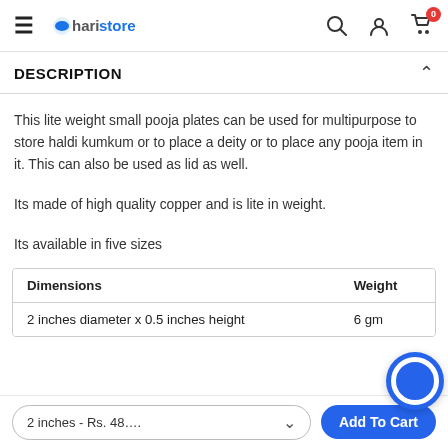haristore — navigation bar with menu, logo, search, account, cart (0)
DESCRIPTION
This lite weight small pooja plates can be used for multipurpose to store haldi kumkum or to place a deity or to place any pooja item in it. This can also be used as lid as well.
Its made of high quality copper and is lite in weight.
Its available in five sizes
| Dimensions | Weight |
| --- | --- |
| 2 inches diameter x 0.5 inches height | 6 gm |
2 inches – Rs. 48…    Add To Cart